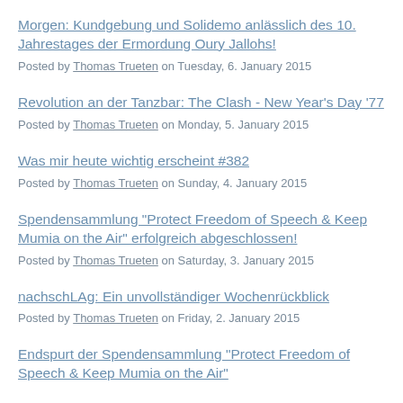Morgen: Kundgebung und Solidemo anlässlich des 10. Jahrestages der Ermordung Oury Jallohs!
Posted by Thomas Trueten on Tuesday, 6. January 2015
Revolution an der Tanzbar: The Clash - New Year's Day '77
Posted by Thomas Trueten on Monday, 5. January 2015
Was mir heute wichtig erscheint #382
Posted by Thomas Trueten on Sunday, 4. January 2015
Spendensammlung "Protect Freedom of Speech & Keep Mumia on the Air" erfolgreich abgeschlossen!
Posted by Thomas Trueten on Saturday, 3. January 2015
nachschLAg: Ein unvollständiger Wochenrückblick
Posted by Thomas Trueten on Friday, 2. January 2015
Endspurt der Spendensammlung "Protect Freedom of Speech & Keep Mumia on the Air"